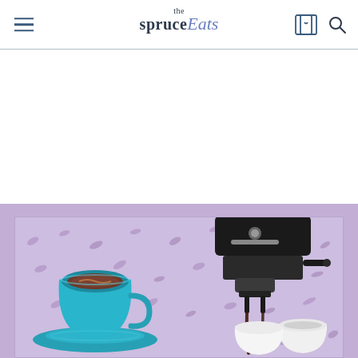the spruce Eats — navigation header with hamburger menu, logo, bookmark and search icons
[Figure (photo): Article hero image with lavender/purple background featuring a teal espresso cup with saucer on the left and an espresso machine pouring coffee into white cups on the right, set against a patterned purple background]
[Figure (logo): The Spruce Eats logo — 'the' in small serif text above 'spruce' in bold dark serif and 'Eats' in italic blue-purple cursive]